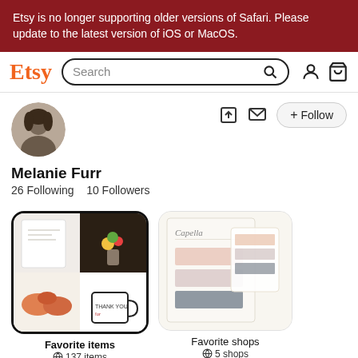Etsy is no longer supporting older versions of Safari. Please update to the latest version of iOS or MacOS.
[Figure (screenshot): Etsy navigation bar with logo, search box, user icon, and cart icon]
[Figure (photo): Profile avatar photo of Melanie Furr - circular black and white portrait]
Melanie Furr
26 Following    10 Followers
[Figure (photo): Favorite items collection thumbnail showing a 2x2 grid of product images]
Favorite items
🌐 137 items
[Figure (photo): Favorite shops collection thumbnail showing watercolor/stationery products]
Favorite shops
🌐 5 shops
Favorite items